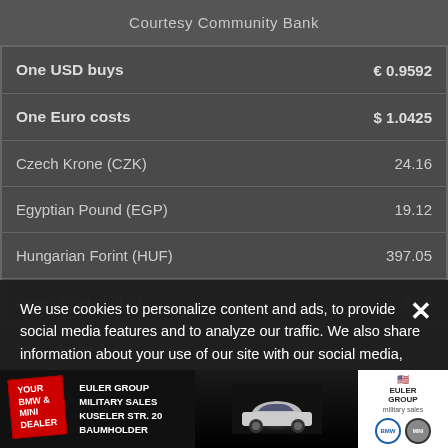Courtesy Community Bank
| Currency | Rate |
| --- | --- |
| One USD buys | € 0.9592 |
| One Euro costs | $ 1.0425 |
| Czech Krone (CZK) | 24.16 |
| Egyptian Pound (EGP) | 19.12 |
| Hungarian Forint (HUF) | 397.05 |
| Israeli Shekel (ILS) | 3.23 |
We use cookies to personalize content and ads, to provide social media features and to analyze our traffic. We also share information about your use of our site with our social media, advertising and analytics partners if you have provided them with information or they have collected it from your use of their services.
[Figure (infographic): Euler Group Military Sales advertisement banner showing BMW & MINI dealer info at Kuseler Str. 20, Baumholder, with a car image and dealer logo]